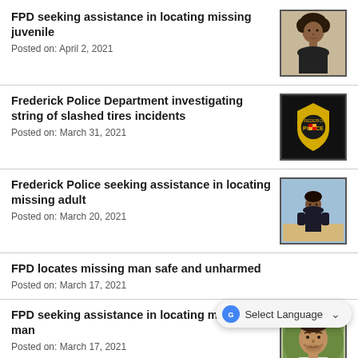FPD seeking assistance in locating missing juvenile
Posted on: April 2, 2021
[Figure (photo): Photo of a young person with curly dark hair]
Frederick Police Department investigating string of slashed tires incidents
Posted on: March 31, 2021
[Figure (logo): Frederick Police Department badge/logo on dark background]
Frederick Police seeking assistance in locating missing adult
Posted on: March 20, 2021
[Figure (photo): Photo of a person standing at a beach wearing a dark hoodie]
FPD locates missing man safe and unharmed
Posted on: March 17, 2021
FPD seeking assistance in locating missing man
Posted on: March 17, 2021
[Figure (photo): Photo of a man with short hair and beard outdoors]
FPD locates missing teen girl unharmed